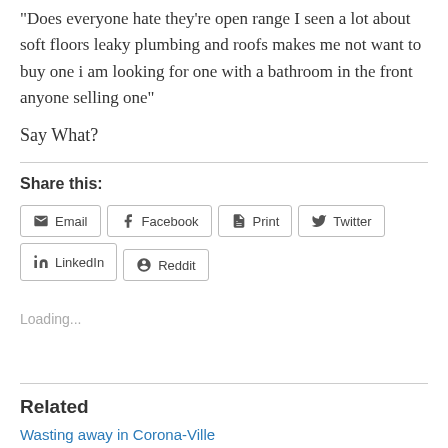“Does everyone hate they're open range I seen a lot about soft floors leaky plumbing and roofs makes me not want to buy one i am looking for one with a bathroom in the front anyone selling one”
Say What?
Share this:
Email  Facebook  Print  Twitter  LinkedIn  Reddit
Loading...
Related
Wasting away in Corona-Ville